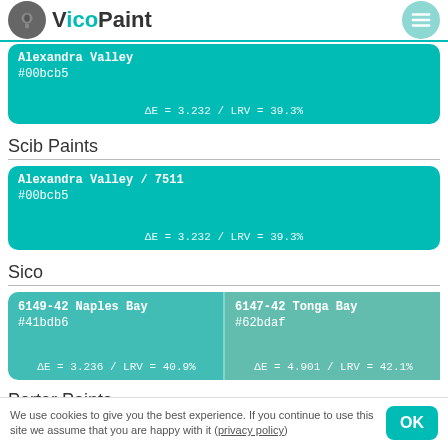VicoPaint
Scib Paints
[Figure (other): Color card: Alexandra Valley #00bcb5, ΔE = 3.232 / LRV = 39.3%]
[Figure (other): Color card: Alexandra Valley / 7511 #00bcb5, ΔE = 3.232 / LRV = 39.3%]
Sico
[Figure (other): Two color cards side by side: 6149-42 Naples Bay #41bdb6 ΔE=3.236/LRV=40.9% and 6147-42 Tonga Bay #62bdaf ΔE=4.901/LRV=42.1%]
Porter Paints
[Figure (other): Two color cards: Tint Of Turquoise / 101-5 and Mediterranean Green / 102-5]
We use cookies to give you the best experience. If you continue to use this site we assume that you are happy with it (privacy policy)